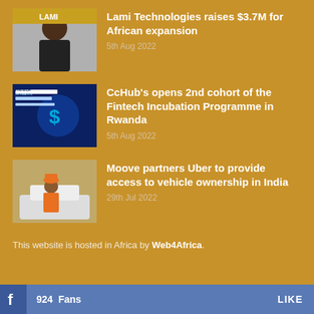[Figure (photo): Woman smiling, Lami Technologies logo visible in background]
Lami Technologies raises $3.7M for African expansion
5th Aug 2022
[Figure (photo): Fintech Incubation Programme CcHub promotional graphic with dollar sign brain graphic]
CcHub's opens 2nd cohort of the Fintech Incubation Programme in Rwanda
5th Aug 2022
[Figure (photo): Man in orange uniform near vehicle, Moove/Uber partnership]
Moove partners Uber to provide access to vehicle ownership in India
29th Jul 2022
This website is hosted in Africa by Web4Africa.
924 Fans  LIKE